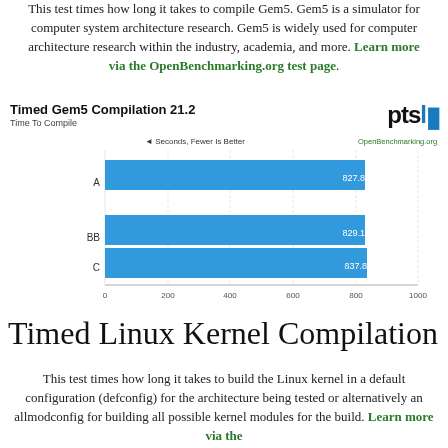This test times how long it takes to compile Gem5. Gem5 is a simulator for computer system architecture research. Gem5 is widely used for computer architecture research within the industry, academia, and more. Learn more via the OpenBenchmarking.org test page.
Timed Gem5 Compilation 21.2
Time To Compile
[Figure (bar-chart): Timed Gem5 Compilation 21.2]
Timed Linux Kernel Compilation
This test times how long it takes to build the Linux kernel in a default configuration (defconfig) for the architecture being tested or alternatively an allmodconfig for building all possible kernel modules for the build. Learn more via the